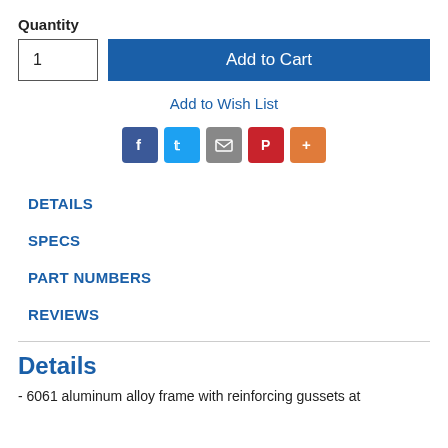Quantity
1
Add to Cart
Add to Wish List
[Figure (infographic): Social sharing icons: Facebook (blue), Twitter (light blue), Email (gray), Pinterest (red), More (orange)]
DETAILS
SPECS
PART NUMBERS
REVIEWS
Details
- 6061 aluminum alloy frame with reinforcing gussets at